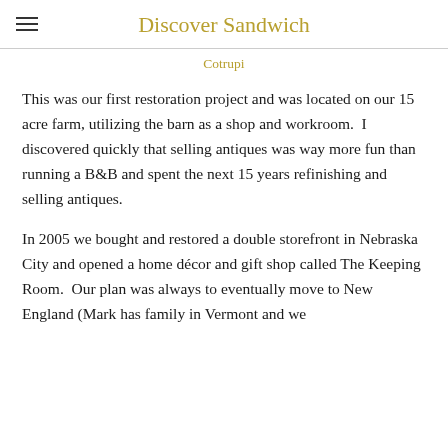Discover Sandwich
Cotrupi
This was our first restoration project and was located on our 15 acre farm, utilizing the barn as a shop and workroom.  I discovered quickly that selling antiques was way more fun than running a B&B and spent the next 15 years refinishing and selling antiques.
In 2005 we bought and restored a double storefront in Nebraska City and opened a home décor and gift shop called The Keeping Room.  Our plan was always to eventually move to New England (Mark has family in Vermont and we